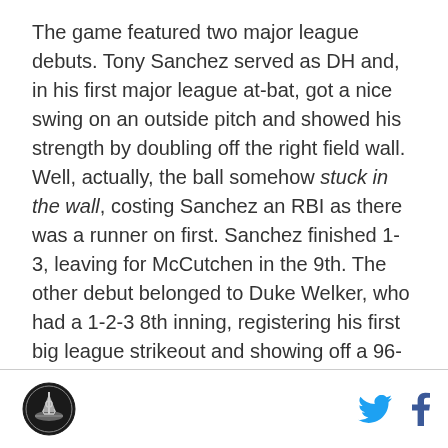The game featured two major league debuts. Tony Sanchez served as DH and, in his first major league at-bat, got a nice swing on an outside pitch and showed his strength by doubling off the right field wall. Well, actually, the ball somehow stuck in the wall, costing Sanchez an RBI as there was a runner on first. Sanchez finished 1-3, leaving for McCutchen in the 9th. The other debut belonged to Duke Welker, who had a 1-2-3 8th inning, registering his first big league strikeout and showing off a 96-98 mph fastball.
[Figure (logo): Circular logo with a ship/anchor design in black and white]